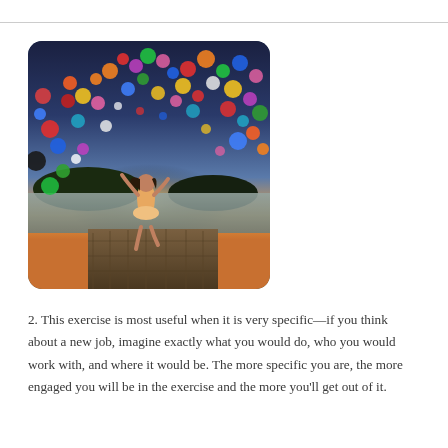[Figure (photo): A woman jumping joyfully on a wooden dock by a lake at sunset, surrounded by hundreds of colorful balloons floating in the air against a twilight sky.]
2. This exercise is most useful when it is very specific—if you think about a new job, imagine exactly what you would do, who you would work with, and where it would be. The more specific you are, the more engaged you will be in the exercise and the more you'll get out of it.